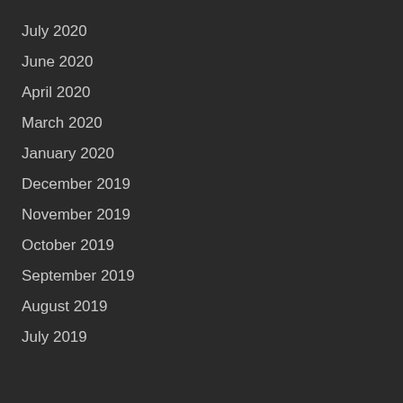July 2020
June 2020
April 2020
March 2020
January 2020
December 2019
November 2019
October 2019
September 2019
August 2019
July 2019